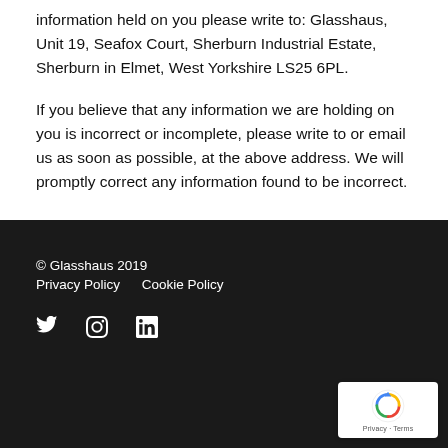information held on you please write to: Glasshaus, Unit 19, Seafox Court, Sherburn Industrial Estate, Sherburn in Elmet, West Yorkshire LS25 6PL.
If you believe that any information we are holding on you is incorrect or incomplete, please write to or email us as soon as possible, at the above address. We will promptly correct any information found to be incorrect.
© Glasshaus 2019
Privacy Policy   Cookie Policy